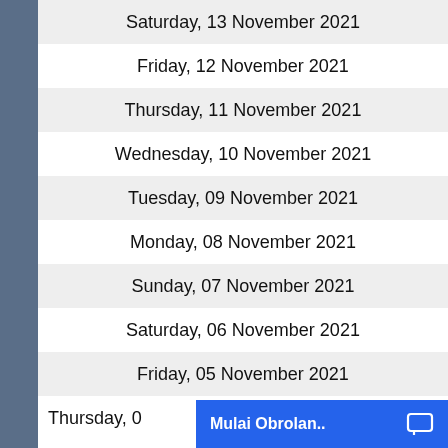Saturday, 13 November 2021
Friday, 12 November 2021
Thursday, 11 November 2021
Wednesday, 10 November 2021
Tuesday, 09 November 2021
Monday, 08 November 2021
Sunday, 07 November 2021
Saturday, 06 November 2021
Friday, 05 November 2021
Thursday, 04 November 2021
[Figure (screenshot): Blue chat button overlay at bottom right reading 'Mulai Obrolan..' with chat icon]